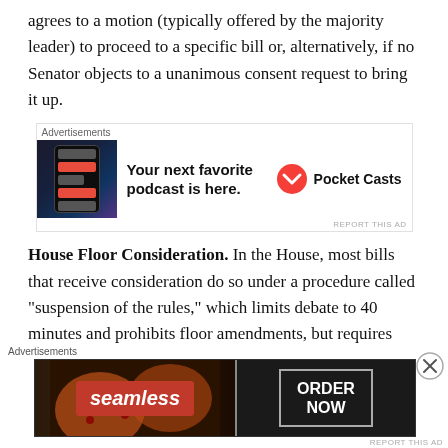agrees to a motion (typically offered by the majority leader) to proceed to a specific bill or, alternatively, if no Senator objects to a unanimous consent request to bring it up.
[Figure (other): Advertisement banner for Pocket Casts podcast app showing a phone with the app interface, headline 'Your next favorite podcast is here.' and the Pocket Casts logo]
House Floor Consideration. In the House, most bills that receive consideration do so under a procedure called "suspension of the rules," which limits debate to 40 minutes and prohibits floor amendments, but requires two-thirds of Members voting to agree. Most other bills are considered under tailored debate and amending parameters set by the
[Figure (other): Advertisement banner for Seamless food delivery service showing pizza slices with the Seamless logo and an ORDER NOW button]